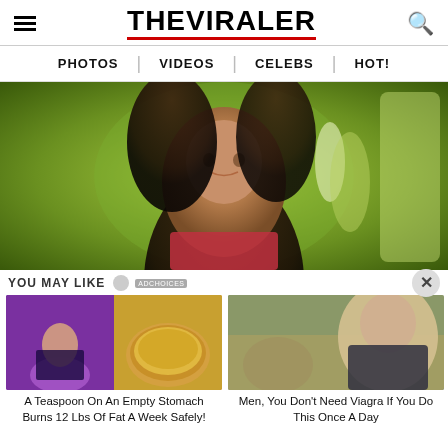THE VIRALER
PHOTOS | VIDEOS | CELEBS | HOT!
[Figure (photo): Hero image of a brunette woman posing outdoors with greenery background, from The Viraler website]
YOU MAY LIKE
[Figure (photo): Thumbnail of a fit woman running and a pile of spice powder]
A Teaspoon On An Empty Stomach Burns 12 Lbs Of Fat A Week Safely!
[Figure (photo): Thumbnail of a woman sitting outdoors on a bench]
Men, You Don't Need Viagra If You Do This Once A Day